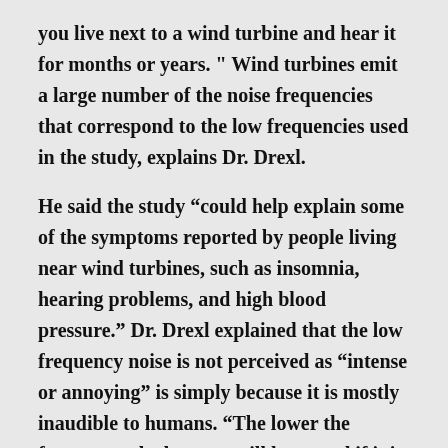you live next to a wind turbine and hear it for months or years. " Wind turbines emit a large number of the noise frequencies that correspond to the low frequencies used in the study, explains Dr. Drexl.
He said the study “could help explain some of the symptoms reported by people living near wind turbines, such as insomnia, hearing problems, and high blood pressure.” Dr. Drexl explained that the low frequency noise is not perceived as “intense or annoying” is simply because it is mostly inaudible to humans. “The lower the frequency, the less you will hear, and if it is even lower (editor’s note: in the infrasound range <16-20 Hz), you will not hear anything at all.” People think if you can’t hear it